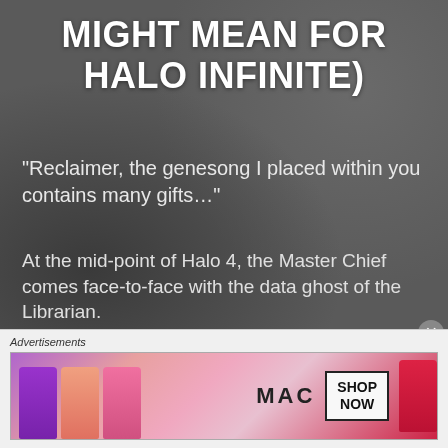MIGHT MEAN FOR HALO INFINITE)
“Reclaimer, the genesong I placed within you contains many gifts…”
At the mid-point of Halo 4, the Master Chief comes face-to-face with the data ghost of the Librarian.
She says that she seeded many hidden “gifts” within humanity, and that the Didact can only be defeated by unlocking this dormant potential in the Master Chief, granting him ‘immunity’ to the Composer.
Advertisements
[Figure (photo): MAC cosmetics advertisement showing purple, peach, pink and red lipsticks alongside MAC logo and SHOP NOW button]